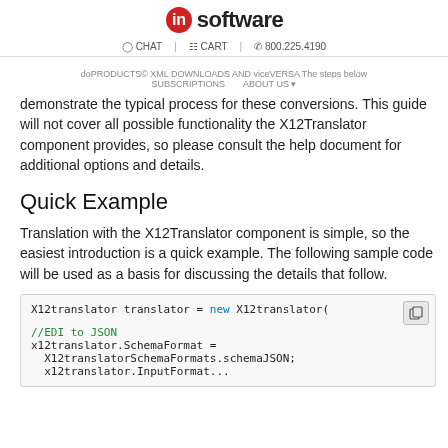in software | CHAT | CART | 800.225.4190
documents to XML documents and vice versa. The steps below demonstrate the typical process for these conversions. This guide will not cover all possible functionality the X12Translator component provides, so please consult the help document for additional options and details.
Quick Example
Translation with the X12Translator component is simple, so the easiest introduction is a quick example. The following sample code will be used as a basis for discussing the details that follow.
X12translator translator = new X12translator(

//EDI to JSON
x12translator.SchemaFormat =
  X12translatorSchemaFormats.schemaJSON;
  x12translator.InputFormat...